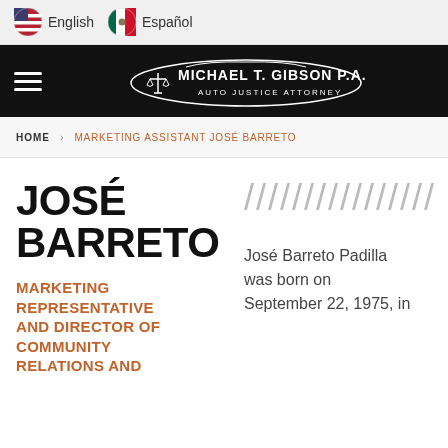English  Español
[Figure (logo): Michael T. Gibson P.A. Auto Justice Attorney logo with scales of justice icon and car silhouette on black background]
HOME  MARKETING ASSISTANT JOSÉ BARRETO
JOSÉ BARRETO
MARKETING REPRESENTATIVE AND DIRECTOR OF COMMUNITY RELATIONS AND
José Barreto Padilla was born on September 22, 1975, in